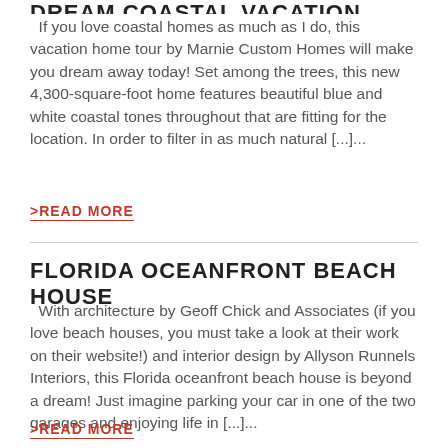DREAM COASTAL VACATION HOME TOUR
If you love coastal homes as much as I do, this vacation home tour by Marnie Custom Homes will make you dream away today! Set among the trees, this new 4,300-square-foot home features beautiful blue and white coastal tones throughout that are fitting for the location. In order to filter in as much natural [...]...
>READ MORE
FLORIDA OCEANFRONT BEACH HOUSE
With architecture by Geoff Chick and Associates (if you love beach houses, you must take a look at their work on their website!) and interior design by Allyson Runnels Interiors, this Florida oceanfront beach house is beyond a dream! Just imagine parking your car in one of the two garages and enjoying life in [...]...
>READ MORE